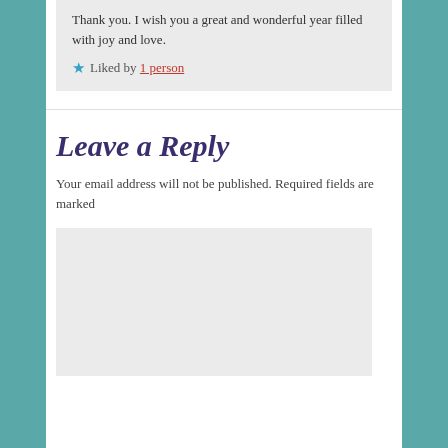Thank you. I wish you a great and wonderful year filled with joy and love.
Liked by 1 person
Leave a Reply
Your email address will not be published. Required fields are marked
[Figure (other): Empty text area input box with light gray background]